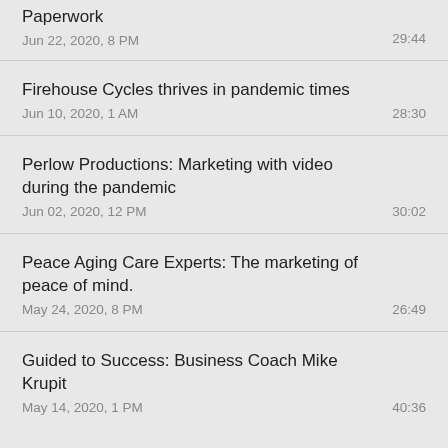Paperwork
Jun 22, 2020, 8 PM
29:44
Firehouse Cycles thrives in pandemic times
Jun 10, 2020, 1 AM
28:30
Perlow Productions: Marketing with video during the pandemic
Jun 02, 2020, 12 PM
30:02
Peace Aging Care Experts: The marketing of peace of mind.
May 24, 2020, 8 PM
26:49
Guided to Success: Business Coach Mike Krupit
May 14, 2020, 1 PM
40:36